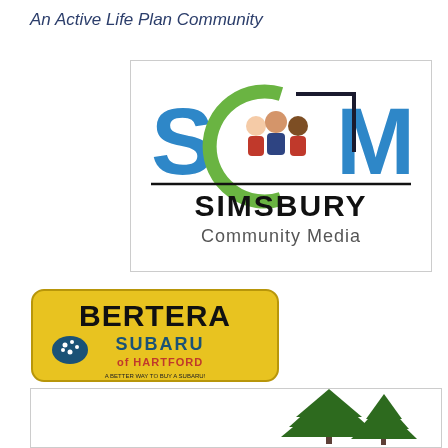An Active Life Plan Community
[Figure (logo): Simsbury Community Media logo: letters S, C (with green arc and people figures), M in blue, with 'SIMSBURY' in bold black and 'Community Media' in gray below]
[Figure (logo): Bertera Subaru of Hartford logo on yellow/gold rounded rectangle background with black bold text 'BERTERA', blue 'SUBARU' with star badge, red 'of HARTFORD', and small tagline text]
[Figure (logo): Partial logo in white box with green evergreen/pine tree illustration on the right side]